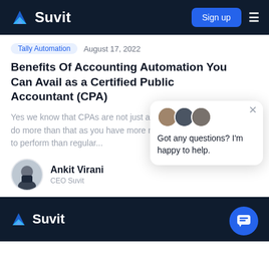Suvit — Sign up
Tally Automation   August 17, 2022
Benefits Of Accounting Automation You Can Avail as a Certified Public Accountant (CPA)
Yes we know that CPAs are not just accountants, you have to do more than that as you have more responsibilities and duties to perform than regular...
Ankit Virani
CEO Suvit
Got any questions? I'm happy to help.
Suvit